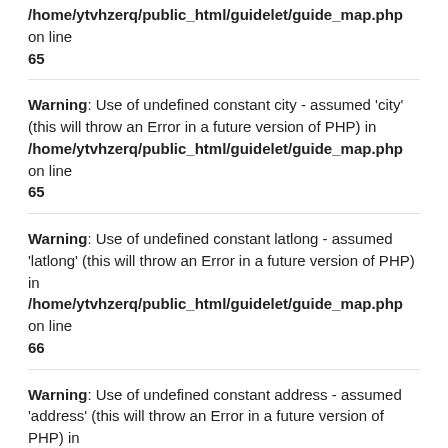/home/ytvhzerq/public_html/guidelet/guide_map.php on line 65
Warning: Use of undefined constant city - assumed 'city' (this will throw an Error in a future version of PHP) in /home/ytvhzerq/public_html/guidelet/guide_map.php on line 65
Warning: Use of undefined constant latlong - assumed 'latlong' (this will throw an Error in a future version of PHP) in /home/ytvhzerq/public_html/guidelet/guide_map.php on line 66
Warning: Use of undefined constant address - assumed 'address' (this will throw an Error in a future version of PHP) in /home/ytvhzerq/public_html/guidelet/guide_map.php on line 65
Warning: Use of undefined constant city - assumed 'city' (this will throw an Error in a future version of PHP) in /home/ytvhzerq/public_html/guidelet/guide_map.php on line 65